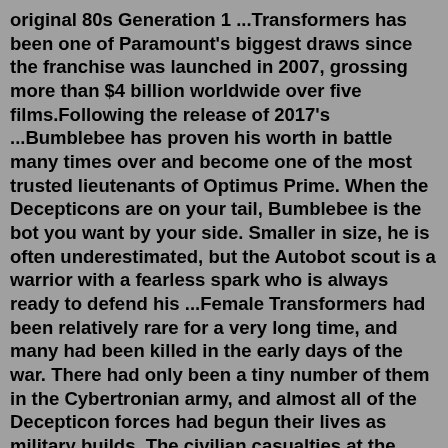original 80s Generation 1 ...Transformers has been one of Paramount's biggest draws since the franchise was launched in 2007, grossing more than $4 billion worldwide over five films.Following the release of 2017's ...Bumblebee has proven his worth in battle many times over and become one of the most trusted lieutenants of Optimus Prime. When the Decepticons are on your tail, Bumblebee is the bot you want by your side. Smaller in size, he is often underestimated, but the Autobot scout is a warrior with a fearless spark who is always ready to defend his ...Female Transformers had been relatively rare for a very long time, and many had been killed in the early days of the war. There had only been a tiny number of them in the Cybertronian army, and almost all of the Decepticon forces had begun their lives as military builds. The civilian casualties at the beginning of the war had been brutal.Elita One was a female Cybertronian from the era before the Great War between the Autobots and Decepticons. Elita One emerged from the Well of All Sparks, a routine during...